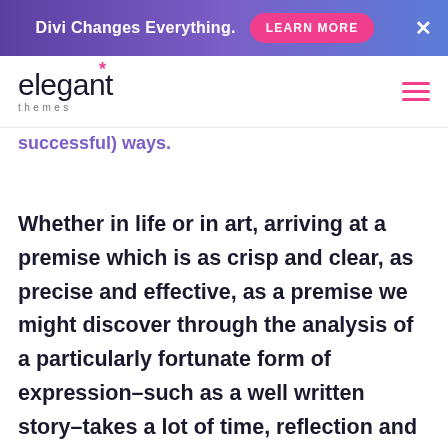Divi Changes Everything. LEARN MORE ×
[Figure (logo): Elegant Themes logo with asterisk in pink and hamburger menu icon]
successful) ways.
Whether in life or in art, arriving at a premise which is as crisp and clear, as precise and effective, as a premise we might discover through the analysis of a particularly fortunate form of expression–such as a well written story–takes a lot of time, reflection and careful revision. That's why it's really important